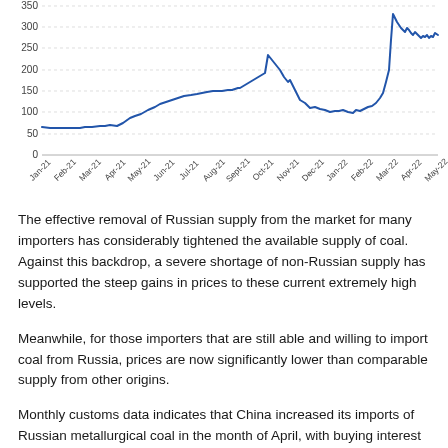[Figure (line-chart): ]
The effective removal of Russian supply from the market for many importers has considerably tightened the available supply of coal. Against this backdrop, a severe shortage of non-Russian supply has supported the steep gains in prices to these current extremely high levels.
Meanwhile, for those importers that are still able and willing to import coal from Russia, prices are now significantly lower than comparable supply from other origins.
Monthly customs data indicates that China increased its imports of Russian metallurgical coal in the month of April, with buying interest likely supported by considerable price discounts relative to comparable coal from other sources. That may provide